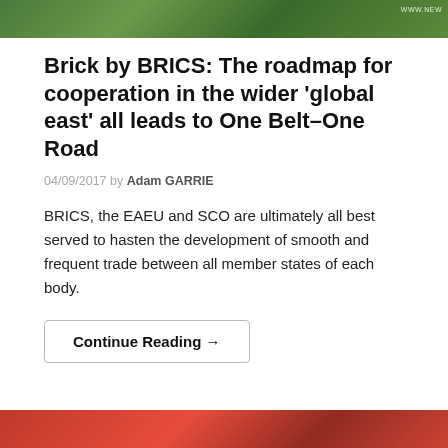[Figure (photo): Green landscape photo at the top of the page with a small watermark 'WWW.NEW' in the upper right corner]
Brick by BRICS: The roadmap for cooperation in the wider ‘global east’ all leads to One Belt–One Road
04/09/2017 by Adam GARRIE
BRICS, the EAEU and SCO are ultimately all best served to hasten the development of smooth and frequent trade between all member states of each body.
Continue Reading →
[Figure (photo): Partial photo visible at the bottom of the page, showing red/colorful imagery]